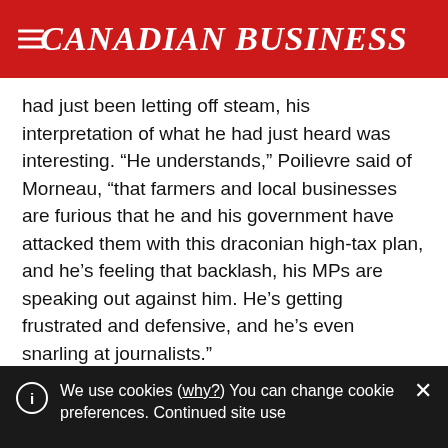CANADIAN BUSINESS
had just been letting off steam, his interpretation of what he had just heard was interesting. “He understands,” Poilievre said of Morneau, “that farmers and local businesses are furious that he and his government have attacked them with this draconian high-tax plan, and he’s feeling that backlash, his MPs are speaking out against him. He’s getting frustrated and defensive, and he’s even snarling at journalists.”
Any concern is appreciated, but I’ve known journalists to be snarled at worse without suffering lasting
We use cookies (why?) You can change cookie preferences. Continued site use